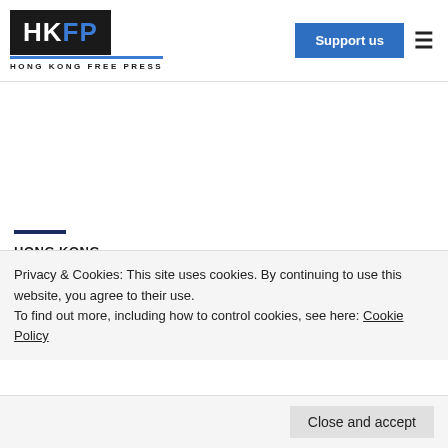HKFP HONG KONG FREE PRESS
[Figure (other): Advertisement/blank space area]
HONG KONG
Hong Kong Cardinal Joseph
Privacy & Cookies: This site uses cookies. By continuing to use this website, you agree to their use.
To find out more, including how to control cookies, see here: Cookie Policy
Close and accept